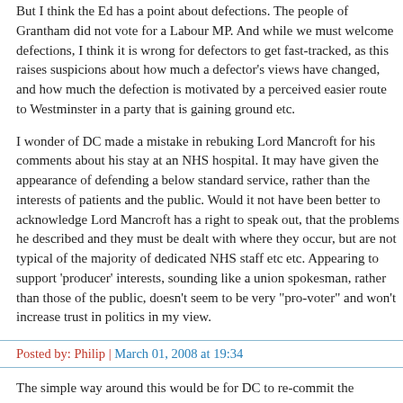But I think the Ed has a point about defections. The people of Grantham did not vote for a Labour MP. And while we must welcome defections, I think it is wrong for defectors to get fast-tracked, as this raises suspicions about how much a defector's views have changed, and how much the defection is motivated by a perceived easier route to Westminster in a party that is gaining ground etc.
I wonder of DC made a mistake in rebuking Lord Mancroft for his comments about his stay at an NHS hospital. It may have given the appearance of defending a below standard service, rather than the interests of patients and the public. Would it not have been better to acknowledge Lord Mancroft has a right to speak out, that the problems he described and they must be dealt with where they occur, but are not typical of the majority of dedicated NHS staff etc etc. Appearing to support 'producer' interests, sounding like a union spokesman, rather than those of the public, doesn't seem to be very "pro-voter" and won't increase trust in politics in my view.
Posted by: Philip | March 01, 2008 at 19:34
The simple way around this would be for DC to re-commit the Conservative party to being open to all , including those in other parties, but if you are a Cllr, AM, MEP or MP then you must immediately resign your seat and re-stand in the